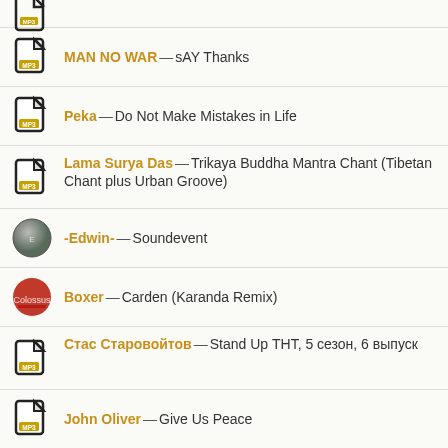MAN NO WAR—sAY Thanks
Peka—Do Not Make Mistakes in Life
Lama Surya Das—Trikaya Buddha Mantra Chant (Tibetan Chant plus Urban Groove)
-Edwin-—Soundevent
Boxer—Carden (Karanda Remix)
Стас Старовойтов—Stand Up ТНТ, 5 сезон, 6 выпуск
John Oliver—Give Us Peace
Дема Громов—Призрак в купе